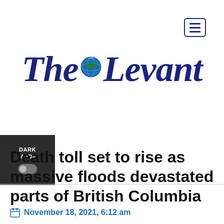The Levant (logo)
Death toll set to rise as massive floods devastated parts of British Columbia
November 18, 2021, 6:12 am